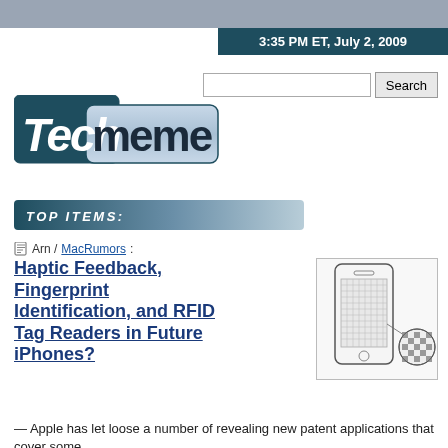3:35 PM ET, July 2, 2009
[Figure (logo): Techmeme logo — 'Tech' in white italic on dark teal background, 'meme' in bold dark text on light blue-gray pill shape]
TOP ITEMS:
Arn / MacRumors:
Haptic Feedback, Fingerprint Identification, and RFID Tag Readers in Future iPhones?
[Figure (illustration): Patent diagram of iPhone with fingerprint sensor grid detail callout]
— Apple has let loose a number of revealing new patent applications that cover some